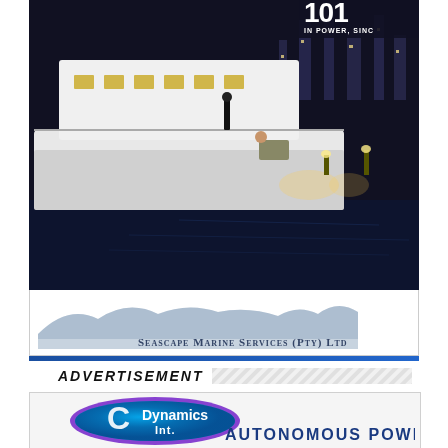[Figure (photo): Yacht at night with city skyline in background, two people on deck. Top right corner shows partial logo text 'IN POWER, SINC'. Bottom shows Seascape Marine Services (PTY) Ltd logo with mountain silhouette graphic.]
ADVERTISEMENT
[Figure (logo): C Dynamics Int. logo — oval shape with blue/teal ocean background, large white 'C' and 'Dynamics Int.' text. Below reads 'AUTONOMOUS POWER SOLUTIO' (truncated).]